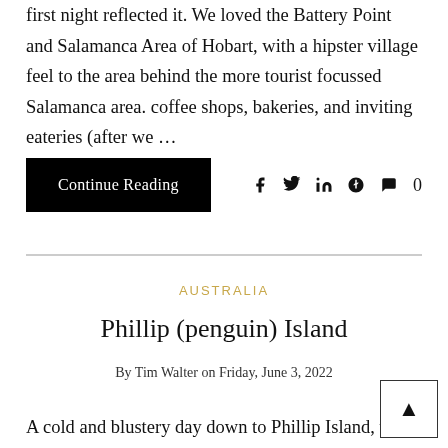first night reflected it. We loved the Battery Point and Salamanca Area of Hobart, with a hipster village feel to the area behind the more tourist focussed Salamanca area. coffee shops, bakeries, and inviting eateries (after we …
Continue Reading
0
AUSTRALIA
Phillip (penguin) Island
By Tim Walter on Friday, June 3, 2022
A cold and blustery day down to Phillip Island, we